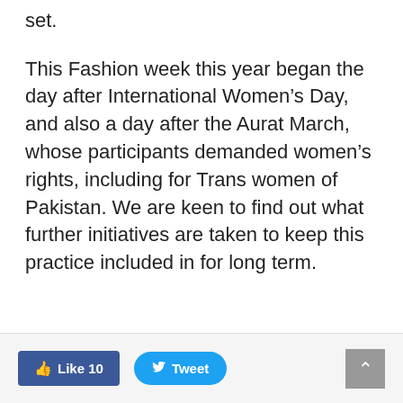set.
This Fashion week this year began the day after International Women’s Day, and also a day after the Aurat March, whose participants demanded women’s rights, including for Trans women of Pakistan. We are keen to find out what further initiatives are taken to keep this practice included in for long term.
Like 10  Tweet